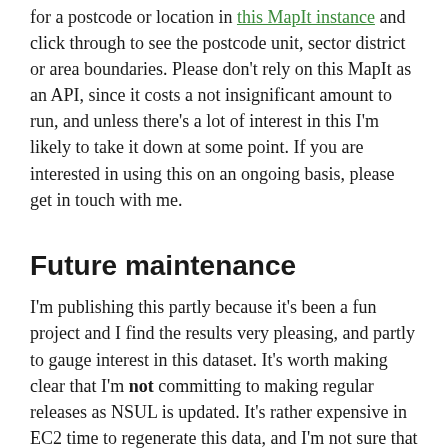for a postcode or location in this MapIt instance and click through to see the postcode unit, sector district or area boundaries. Please don't rely on this MapIt as an API, since it costs a not insignificant amount to run, and unless there's a lot of interest in this I'm likely to take it down at some point. If you are interested in using this on an ongoing basis, please get in touch with me.
Future maintenance
I'm publishing this partly because it's been a fun project and I find the results very pleasing, and partly to gauge interest in this dataset. It's worth making clear that I'm not committing to making regular releases as NSUL is updated. It's rather expensive in EC2 time to regenerate this data, and I'm not sure that an individual with very little free time is the right person to be doing that anyway.
If you would be interested in getting regular updates to this